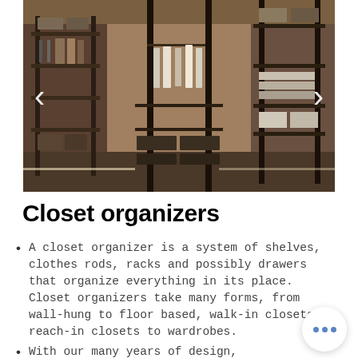[Figure (photo): Walk-in closet organizer with dark metal shelving units, hanging clothes rods, folded items, and storage boxes arranged in an L-shape corner configuration with warm lighting]
Closet organizers
A closet organizer is a system of shelves, clothes rods, racks and possibly drawers that organize everything in its place. Closet organizers take many forms, from wall-hung to floor based, walk-in closets, reach-in closets to wardrobes.
With our many years of design,